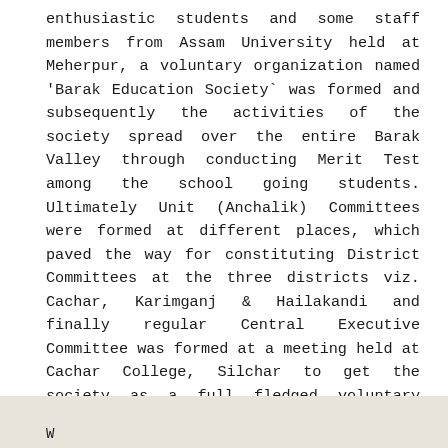enthusiastic students and some staff members from Assam University held at Meherpur, a voluntary organization named 'Barak Education Society` was formed and subsequently the activities of the society spread over the entire Barak Valley through conducting Merit Test among the school going students. Ultimately Unit (Anchalik) Committees were formed at different places, which paved the way for constituting District Committees at the three districts viz. Cachar, Karimganj & Hailakandi and finally regular Central Executive Committee was formed at a meeting held at Cachar College, Silchar to get the society as a full fledged voluntary organization at Barak Valley level.
W...